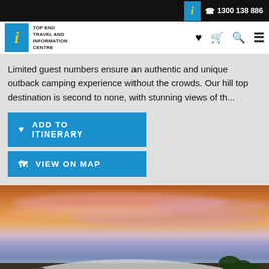1300 138 886
[Figure (logo): Top End Travel and Information Centre logo with blue background and yellow italic i]
Limited guest numbers ensure an authentic and unique outback camping experience without the crowds. Our hill top destination is second to none, with stunning views of th...
ADD TO ITINERARY
VIEW ON MAP
[Figure (photo): Sunset photo showing a building with curved roof under a vivid orange, pink and purple sky with palm trees in background]